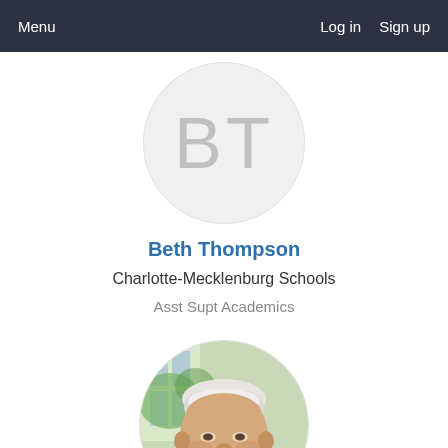Menu   Log in   Sign up
[Figure (illustration): Circular avatar placeholder with initials BT in light gray on light gray background]
Beth Thompson
Charlotte-Mecklenburg Schools
Asst Supt Academics
[Figure (photo): Circular profile photo of a middle-aged man with gray/white hair, light complexion, smiling, with a window and outdoor greenery visible in the background]